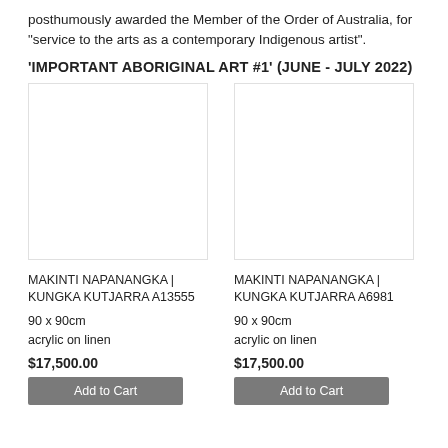posthumously awarded the Member of the Order of Australia, for "service to the arts as a contemporary Indigenous artist".
'IMPORTANT ABORIGINAL ART #1' (JUNE - JULY 2022)
[Figure (photo): Blank/white image placeholder for artwork — left column]
MAKINTI NAPANANGKA | KUNGKA KUTJARRA A13555
90 x 90cm
acrylic on linen
$17,500.00
Add to Cart
[Figure (photo): Blank/white image placeholder for artwork — right column]
MAKINTI NAPANANGKA | KUNGKA KUTJARRA A6981
90 x 90cm
acrylic on linen
$17,500.00
Add to Cart